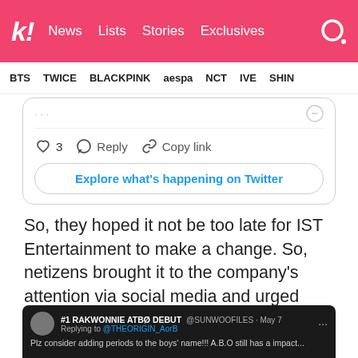k! News Lists Stories Exclusives
BTS TWICE BLACKPINK aespa NCT IVE SHIN
[Figure (screenshot): Embedded Twitter card showing heart icon with 3 likes, Reply button, Copy link button, and 'Explore what's happening on Twitter' button]
So, they hoped it not be too late for IST Entertainment to make a change. So, netizens brought it to the company's attention via social media and urged them to change the name, even if it was as small as adding periods or slashes in between the letters to differentiate.
[Figure (screenshot): Twitter post screenshot from #1 RAKWONNIE ATBØ DEBUT @SUNWOOFILES · May 7, Replying to @THEORIGIN_AorB, text begins: Plz consider adding periods to the boys' name!!! A.B.O still has a impact...]